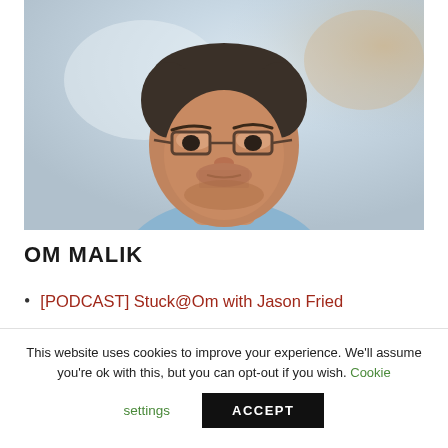[Figure (photo): Portrait photo of Om Malik, a man wearing glasses and a light blue shirt, photographed against a blurred background]
OM MALIK
[PODCAST] Stuck@Om with Jason Fried
This website uses cookies to improve your experience. We'll assume you're ok with this, but you can opt-out if you wish. Cookie settings ACCEPT